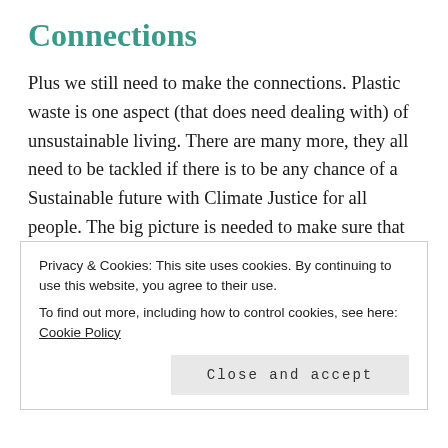Connections
Plus we still need to make the connections. Plastic waste is one aspect (that does need dealing with) of unsustainable living. There are many more, they all need to be tackled if there is to be any chance of a Sustainable future with Climate Justice for all people. The big picture is needed to make sure that we don't lose sight of the need to work for Clean Oceans as well as Zero Fossil fuels as well as Healthy Soil as well as eliminating Poverty, stopping wars, protecting eco-systems etc etc. They are all important, most are highly interconnected (eg poverty
Privacy & Cookies: This site uses cookies. By continuing to use this website, you agree to their use.
To find out more, including how to control cookies, see here: Cookie Policy
Close and accept